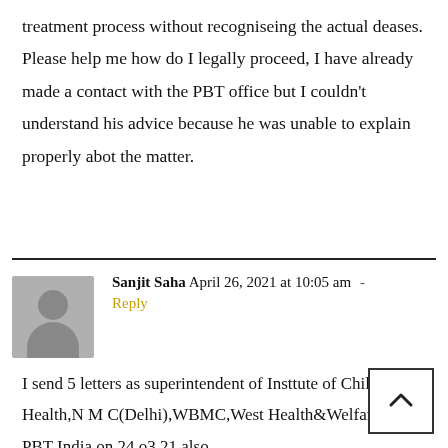treatment process without recogniseing the actual deases. Please help me how do I legally proceed, I have already made a contact with the PBT office but I couldn't understand his advice because he was unable to explain properly abot the matter.
Sanjit Saha April 26, 2021 at 10:05 am - Reply
I send 5 letters as superintendent of Insttute of Child Health,N M C(Delhi),WBMC,West Health&Welfare and PBT India on 24.o3.21 also